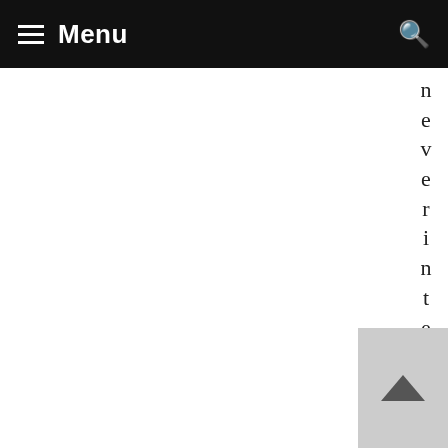Menu
neverintendedtohavease
[Figure (other): Back to top button with upward arrow chevron on grey background]